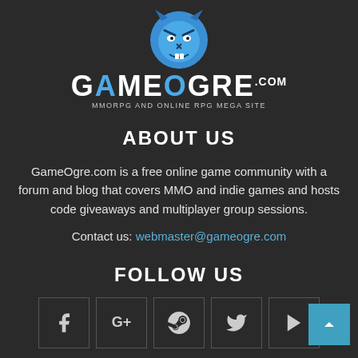[Figure (logo): GameOgre.com logo with blue ogre head mascot and text 'GAMEOGRE.COM' with subtitle 'MMORPG And Online RPG Mega Site']
ABOUT US
GameOgre.com is a free online game community with a forum and blog that covers MMO and indie games and hosts code giveaways and multiplayer group sessions.
Contact us: webmaster@gameogre.com
FOLLOW US
[Figure (infographic): Social media icons row: Facebook, Google+, Steam, Twitter, YouTube]